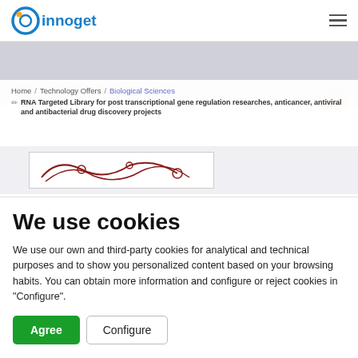[Figure (logo): Innoget logo — circular blue/orange icon followed by 'innoget' text in blue]
Home / Technology Offers / Biological Sciences / RNA Targeted Library for post transcriptional gene regulation researches, anticancer, antiviral and antibacterial drug discovery projects
[Figure (illustration): Partial view of a scientific/biological illustration with hand-drawn style elements]
We use cookies
We use our own and third-party cookies for analytical and technical purposes and to show you personalized content based on your browsing habits. You can obtain more information and configure or reject cookies in "Configure".
Agree  Configure